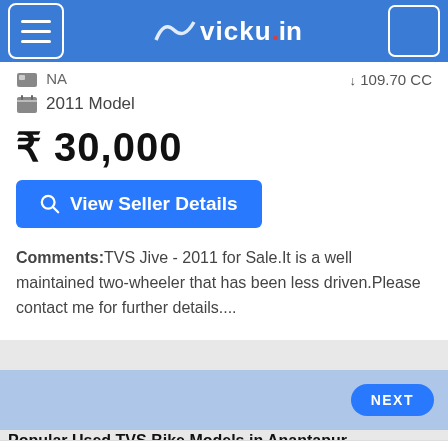vicky.in
NA   ↓ 109.70 CC
2011 Model
₹ 30,000
View Seller Details
Comments:TVS Jive - 2011 for Sale.It is a well maintained two-wheeler that has been less driven.Please contact me for further details....
NEXT
Popular Used TVS Bike Models in Anantapur
Used TVS Apache RTR 160 Bikes in Anantapur(6)